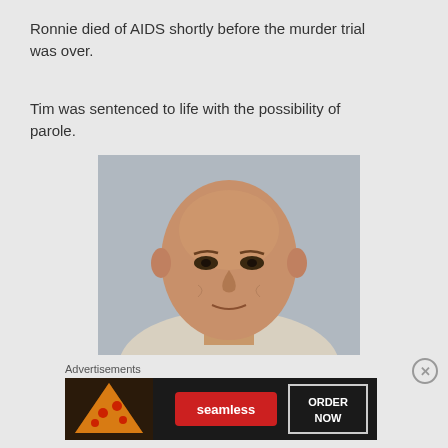Ronnie died of AIDS shortly before the murder trial was over.
Tim was sentenced to life with the possibility of parole.
[Figure (photo): Mugshot-style photo of a bald middle-aged man facing the camera directly, light-colored background]
Advertisements
[Figure (screenshot): Seamless food delivery advertisement banner with pizza image on left, Seamless red logo in center, and ORDER NOW button on right]